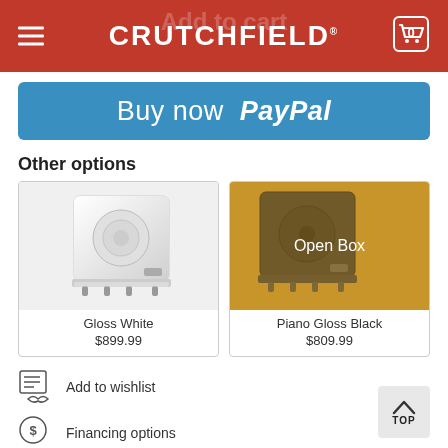CRUTCHFIELD
[Figure (screenshot): Buy now PayPal button - blue button with white text]
Other options
[Figure (photo): Subwoofer speaker in Gloss White finish - white box-shaped speaker on feet]
Gloss White
$899.99
[Figure (photo): Subwoofer speaker in Piano Gloss Black finish with Open Box overlay in gold]
Piano Gloss Black
$809.99
Add to wishlist
Financing options